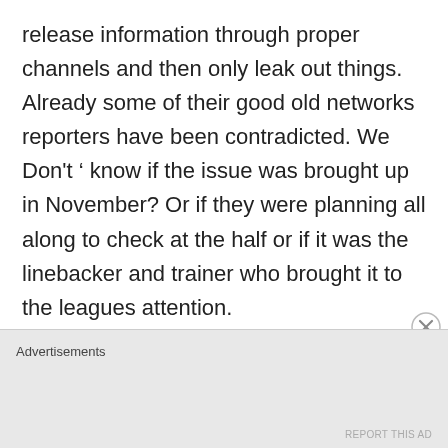release information through proper channels and then only leak out things. Already some of their good old networks reporters have been contradicted. We Don't ' know if the issue was brought up in November? Or if they were planning all along to check at the half or if it was the linebacker and trainer who brought it to the leagues attention.

These details matter!! And when the
Advertisements